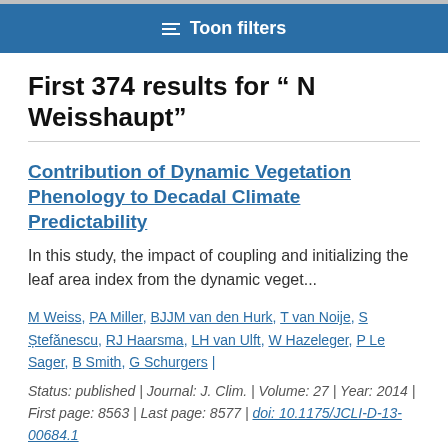Toon filters
First 374 results for " N Weisshaupt"
Contribution of Dynamic Vegetation Phenology to Decadal Climate Predictability
In this study, the impact of coupling and initializing the leaf area index from the dynamic veget...
M Weiss, PA Miller, BJJM van den Hurk, T van Noije, S Ștefănescu, RJ Haarsma, LH van Ulft, W Hazeleger, P Le Sager, B Smith, G Schurgers |
Status: published | Journal: J. Clim. | Volume: 27 | Year: 2014 | First page: 8563 | Last page: 8577 | doi: 10.1175/JCLI-D-13-00684.1
Publication